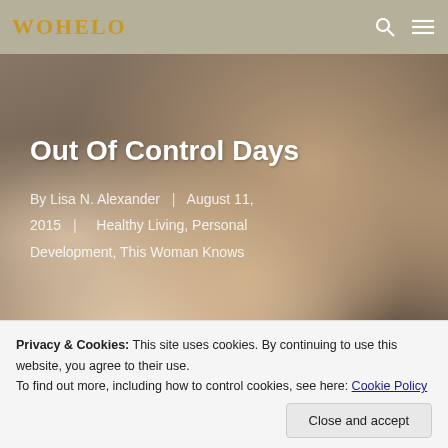WOHELO
[Figure (photo): A toddler with blonde hair crying with mouth wide open, wearing a white shirt, shown against an indoor background]
Out Of Control Days
By Lisa N. Alexander | August 11, 2015 | Healthy Living, Personal Development, This Woman Knows
Privacy & Cookies: This site uses cookies. By continuing to use this website, you agree to their use.
To find out more, including how to control cookies, see here: Cookie Policy
Close and accept
about those days and you can read about it